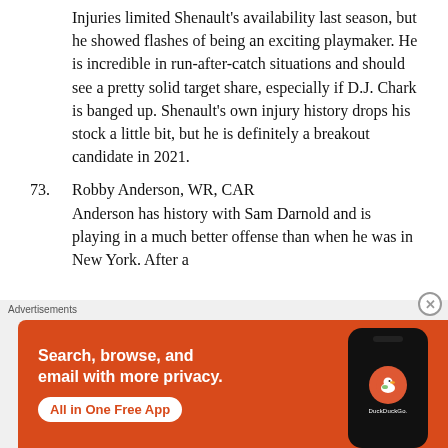Injuries limited Shenault's availability last season, but he showed flashes of being an exciting playmaker. He is incredible in run-after-catch situations and should see a pretty solid target share, especially if D.J. Chark is banged up. Shenault's own injury history drops his stock a little bit, but he is definitely a breakout candidate in 2021.
73. Robby Anderson, WR, CAR
Anderson has history with Sam Darnold and is playing in a much better offense than when he was in New York. After a
Advertisements
[Figure (other): DuckDuckGo advertisement banner: orange background with white bold text 'Search, browse, and email with more privacy.' and 'All in One Free App' button, with a phone mockup showing DuckDuckGo logo on the right.]